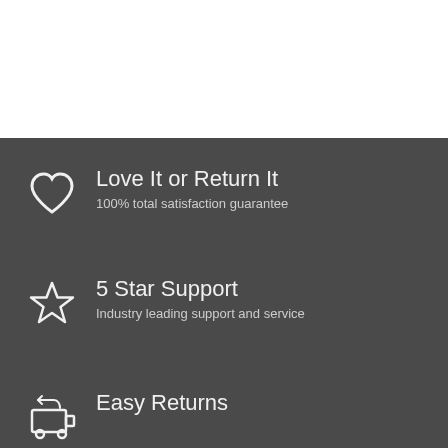[Figure (illustration): White top section of the page]
Love It or Return It
100% total satisfaction guarantee
5 Star Support
Industry leading support and service
Easy Returns